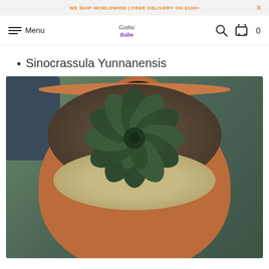WE SHIP WORLDWIDE | FREE DELIVERY ON $100+
Gothic Babe — Menu | Search | Cart 0
Sinocrassula Yunnanensis
[Figure (photo): A dark green succulent Sinocrassula Yunnanensis plant in a terracotta pot with white and cream gravel, surrounded by other pots in a garden setting.]